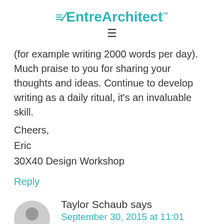EntreArchitect™
(for example writing 2000 words per day). Much praise to you for sharing your thoughts and ideas. Continue to develop writing as a daily ritual, it's an invaluable skill.
Cheers,
Eric
30X40 Design Workshop
Reply
Taylor Schaub says
September 30, 2015 at 11:01